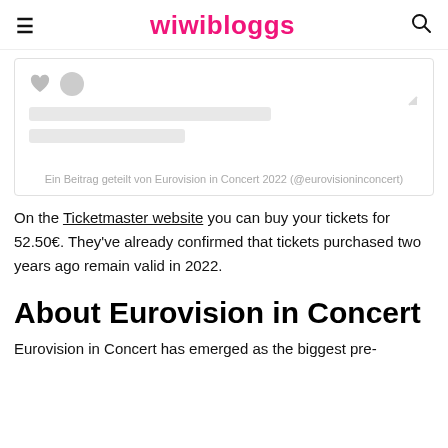wiwibloggs
[Figure (screenshot): Embedded Instagram post card from Eurovision in Concert 2022 (@eurovisioninconcert) with heart and circle icons, two gray placeholder bars, and a quote icon. Caption reads: Ein Beitrag geteilt von Eurovision in Concert 2022 (@eurovisioninconcert)]
Ein Beitrag geteilt von Eurovision in Concert 2022 (@eurovisioninconcert)
On the Ticketmaster website you can buy your tickets for 52.50€. They've already confirmed that tickets purchased two years ago remain valid in 2022.
About Eurovision in Concert
Eurovision in Concert has emerged as the biggest pre-